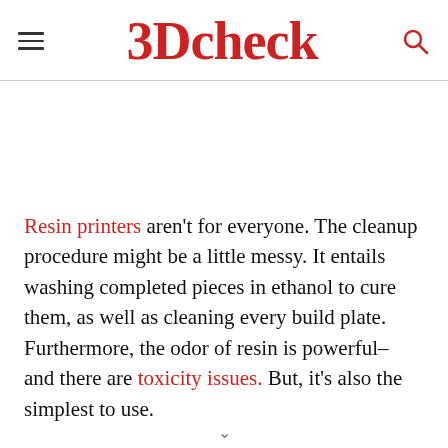3Dcheck
Resin printers aren't for everyone. The cleanup procedure might be a little messy. It entails washing completed pieces in ethanol to cure them, as well as cleaning every build plate. Furthermore, the odor of resin is powerful– and there are toxicity issues. But, it's also the simplest to use.
Its build plate moves a layer instead of two axes that move